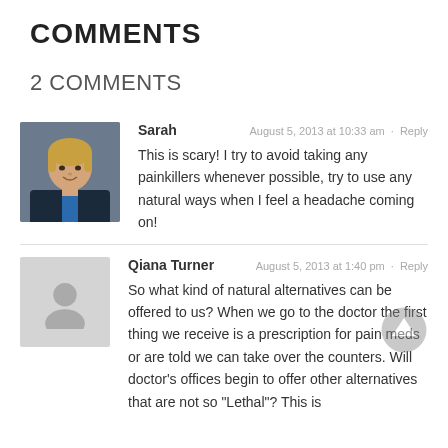COMMENTS
2 COMMENTS
Sarah
August 5, 2013 at 10:33 am · Reply
This is scary! I try to avoid taking any painkillers whenever possible, try to use any natural ways when I feel a headache coming on!
Qiana Turner
August 5, 2013 at 1:40 pm · Reply
So what kind of natural alternatives can be offered to us? When we go to the doctor the first thing we receive is a prescription for pain meds or are told we can take over the counters. Will doctor's offices begin to offer other alternatives that are not so "Lethal"? This is